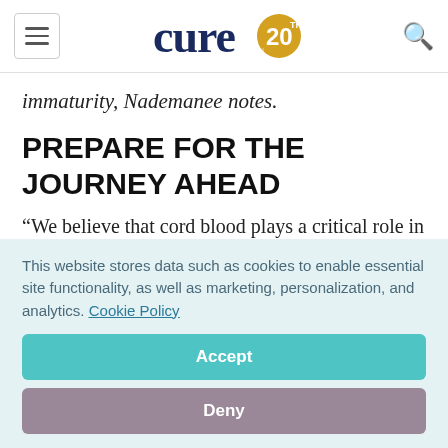cure20 [logo] [hamburger menu] [search icon]
immaturity, Nademanee notes.
PREPARE FOR THE JOURNEY AHEAD
“We believe that cord blood plays a critical role in transplants, but it’s going to take time to sort out how
This website stores data such as cookies to enable essential site functionality, as well as marketing, personalization, and analytics. Cookie Policy
Accept
Deny